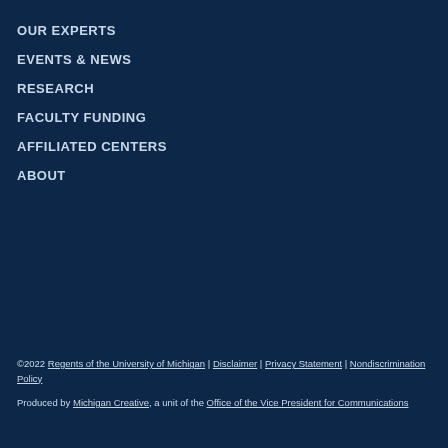OUR EXPERTS
EVENTS & NEWS
RESEARCH
FACULTY FUNDING
AFFILIATED CENTERS
ABOUT
©2022 Regents of the University of Michigan | Disclaimer | Privacy Statement | Nondiscrimination Policy
Produced by Michigan Creative, a unit of the Office of the Vice President for Communications